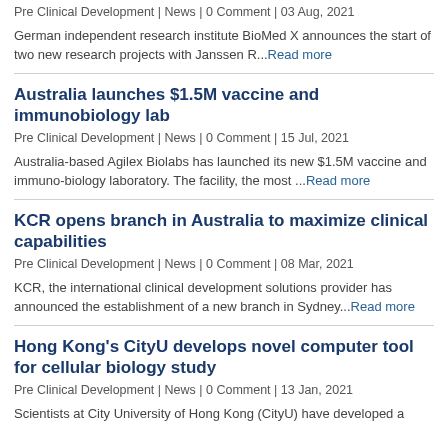Pre Clinical Development | News | 0 Comment | 03 Aug, 2021
German independent research institute BioMed X announces the start of two new research projects with Janssen R... Read more
Australia launches $1.5M vaccine and immunobiology lab
Pre Clinical Development | News | 0 Comment | 15 Jul, 2021
Australia-based Agilex Biolabs has launched its new $1.5M vaccine and immuno-biology laboratory. The facility, the most ... Read more
KCR opens branch in Australia to maximize clinical capabilities
Pre Clinical Development | News | 0 Comment | 08 Mar, 2021
KCR, the international clinical development solutions provider has announced the establishment of a new branch in Sydney... Read more
Hong Kong's CityU develops novel computer tool for cellular biology study
Pre Clinical Development | News | 0 Comment | 13 Jan, 2021
Scientists at City University of Hong Kong (CityU) have developed a